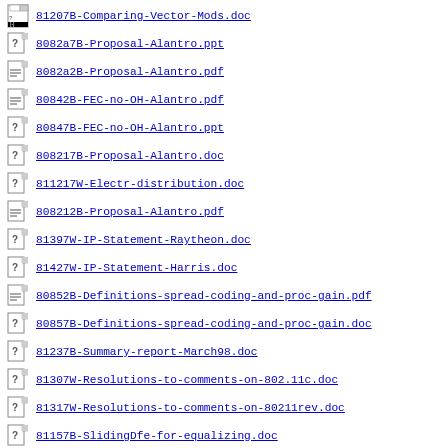81207B-Comparing-Vector-Mods.doc
8082a7B-Proposal-Alantro.ppt
8082a2B-Proposal-Alantro.pdf
80842B-FEC-no-OH-Alantro.pdf
80847B-FEC-no-OH-Alantro.ppt
808217B-Proposal-Alantro.doc
811217W-Electr-distribution.doc
808212B-Proposal-Alantro.pdf
81397W-IP-Statement-Raytheon.doc
81427W-IP-Statement-Harris.doc
80852B-Definitions-spread-coding-and-proc-gain.pdf
80857B-Definitions-spread-coding-and-proc-gain.doc
81237B-Summary-report-March98.doc
81307W-Resolutions-to-comments-on-802.11c.doc
81317W-Resolutions-to-comments-on-80211rev.doc
81157B-SlidingDfe-for-equalizing.doc
80682W-IP-statement-NEC_.pdf
80902-IP-statement-GBT.pdf